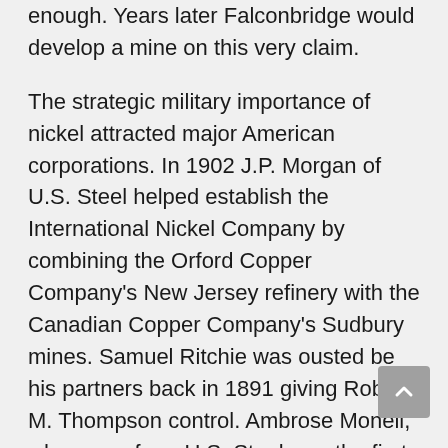enough. Years later Falconbridge would develop a mine on this very claim.
The strategic military importance of nickel attracted major American corporations. In 1902 J.P. Morgan of U.S. Steel helped establish the International Nickel Company by combining the Orford Copper Company's New Jersey refinery with the Canadian Copper Company's Sudbury mines. Samuel Ritchie was ousted be his partners back in 1891 giving Robert M. Thompson control. Ambrose Monell, who came from U.S. Steel was the first president.
In 1905, Sudbury nickel production surpassed that of New Caladonia for the